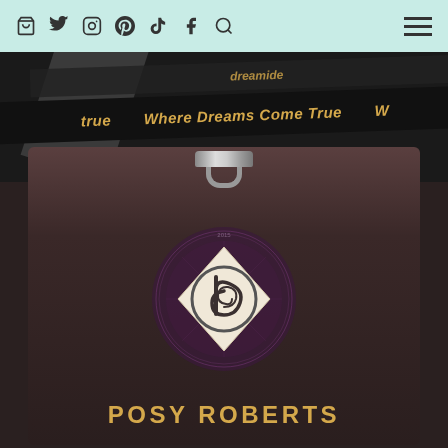Navigation bar with social icons and hamburger menu
[Figure (photo): Close-up photo of a conference badge/lanyard. A black ribbon lanyard reads 'Where Dreams Come True' in gold italic text. Below the lanyard is a dark brown badge card with a diamond-shaped logo featuring a spiral 'b' design, and the name 'POSY ROBERTS' in large gold capital letters at the bottom.]